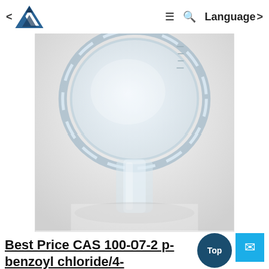< [Logo] ≡ Q Language >
[Figure (photo): Close-up photo of a clear glass laboratory flask or beaker with transparent liquid, viewed from above on a white/light background.]
Best Price CAS 100-07-2 p-benzoyl chloride/4-methoxybenzoyl chloride/PARA-methoxybenzoyl